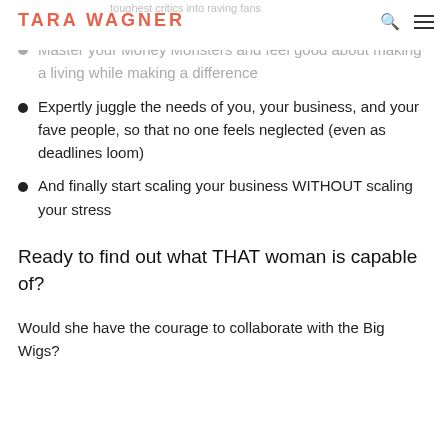toughest critics into raving fans | TARA WAGNER
Master your Money Monsters and feel good about making a living while making a difference
Expertly juggle the needs of you, your business, and your fave people, so that no one feels neglected (even as deadlines loom)
And finally start scaling your business WITHOUT scaling your stress
Ready to find out what THAT woman is capable of?
Would she have the courage to collaborate with the Big Wigs?